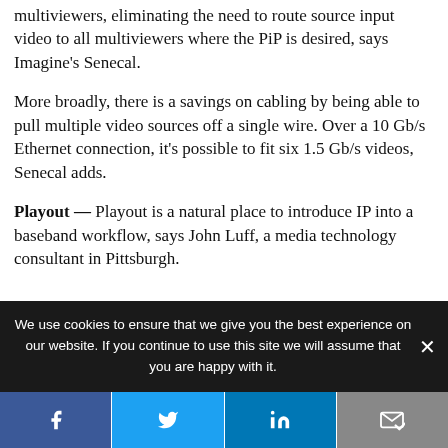multiviewers, eliminating the need to route source input video to all multiviewers where the PiP is desired, says Imagine’s Senecal.
More broadly, there is a savings on cabling by being able to pull multiple video sources off a single wire. Over a 10 Gb/s Ethernet connection, it’s possible to fit six 1.5 Gb/s videos, Senecal adds.
Playout — Playout is a natural place to introduce IP into a baseband workflow, says John Luff, a media technology consultant in Pittsburgh.
“You really all...
We use cookies to ensure that we give you the best experience on our website. If you continue to use this site we will assume that you are happy with it.
[Figure (other): Social media share bar with Facebook, Twitter, LinkedIn, and email/bookmark icons]